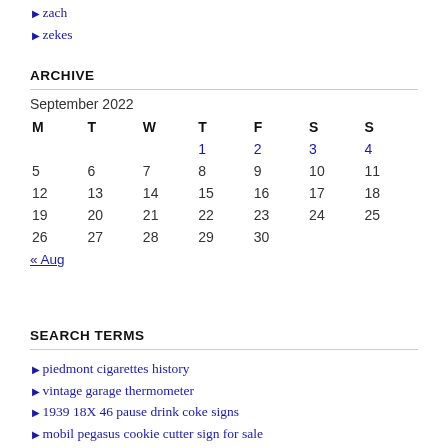zach
zekes
ARCHIVE
| M | T | W | T | F | S | S |
| --- | --- | --- | --- | --- | --- | --- |
|  |  |  | 1 | 2 | 3 | 4 |
| 5 | 6 | 7 | 8 | 9 | 10 | 11 |
| 12 | 13 | 14 | 15 | 16 | 17 | 18 |
| 19 | 20 | 21 | 22 | 23 | 24 | 25 |
| 26 | 27 | 28 | 29 | 30 |  |  |
« Aug
SEARCH TERMS
piedmont cigarettes history
vintage garage thermometer
1939 18X 46 pause drink coke signs
mobil pegasus cookie cutter sign for sale
1960s signs and pole sinclair about 18 feet tall